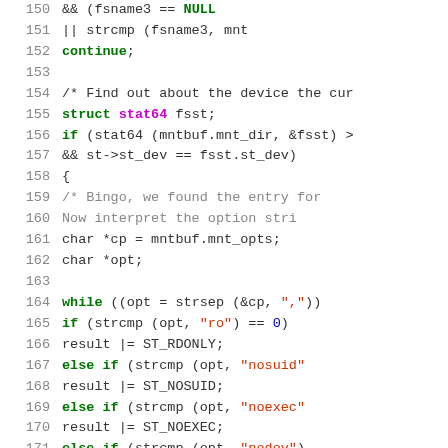[Figure (screenshot): Source code listing lines 150-176 of a C program showing filesystem stat and mount option parsing logic]